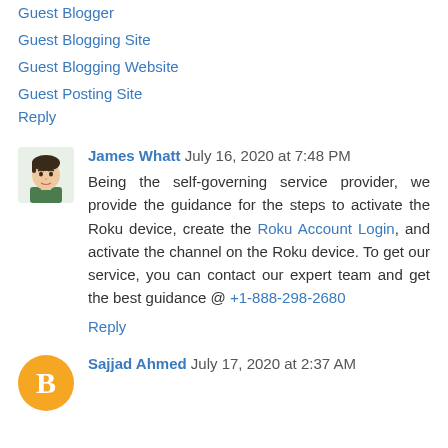Guest Blogger
Guest Blogging Site
Guest Blogging Website
Guest Posting Site
Reply
James Whatt  July 16, 2020 at 7:48 PM
Being the self-governing service provider, we provide the guidance for the steps to activate the Roku device, create the Roku Account Login, and activate the channel on the Roku device. To get our service, you can contact our expert team and get the best guidance @ +1-888-298-2680
Reply
Sajjad Ahmed  July 17, 2020 at 2:37 AM